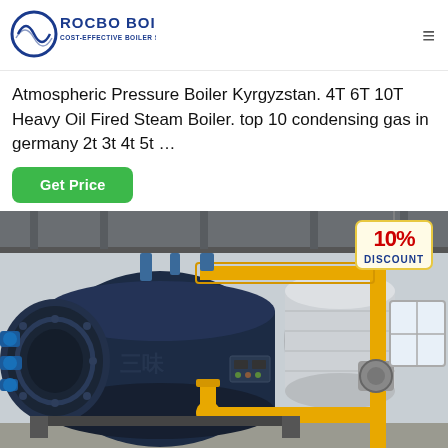[Figure (logo): Rocbo Boiler logo with circular wave icon and text 'ROCBO BOILER / COST-EFFECTIVE BOILER SUPPLIER' in blue]
Atmospheric Pressure Boiler Kyrgyzstan. 4T 6T 10T Heavy Oil Fired Steam Boiler. top 10 condensing gas in germany 2t 3t 4t 5t …
Get Price
[Figure (photo): Industrial boiler room with a large dark blue cylindrical fire-tube steam boiler, yellow gas pipes, silver insulated tanks, and industrial equipment. A 10% DISCOUNT badge is overlaid in the top right.]